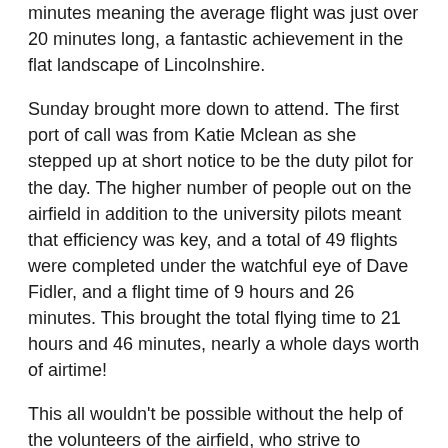minutes meaning the average flight was just over 20 minutes long, a fantastic achievement in the flat landscape of Lincolnshire.
Sunday brought more down to attend. The first port of call was from Katie Mclean as she stepped up at short notice to be the duty pilot for the day. The higher number of people out on the airfield in addition to the university pilots meant that efficiency was key, and a total of 49 flights were completed under the watchful eye of Dave Fidler, and a flight time of 9 hours and 26 minutes. This brought the total flying time to 21 hours and 46 minutes, nearly a whole days worth of airtime!
This all wouldn't be possible without the help of the volunteers of the airfield, who strive to ensure everybody at the club, member and visitor, has an enjoyable day.
Next weekend, we are looking at a warm couple of days with plenty of rain dodging, so bring your lucky ponchos!